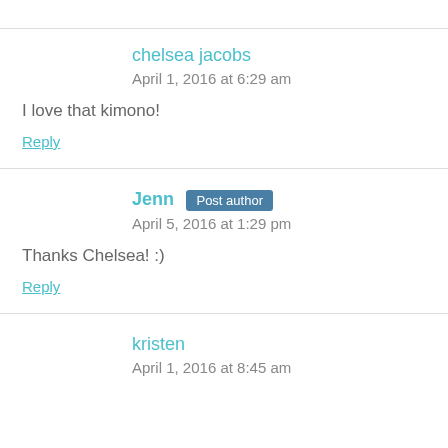chelsea jacobs
April 1, 2016 at 6:29 am
I love that kimono!
Reply
Jenn Post author
April 5, 2016 at 1:29 pm
Thanks Chelsea! :)
Reply
kristen
April 1, 2016 at 8:45 am